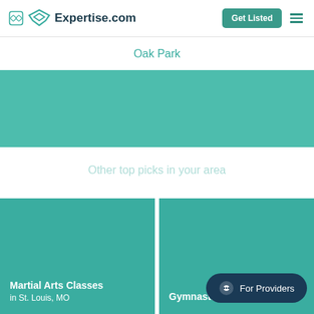Expertise.com
Oak Park
Other top picks in your area
Martial Arts Classes in St. Louis, MO
Gymnastics Classes
For Providers